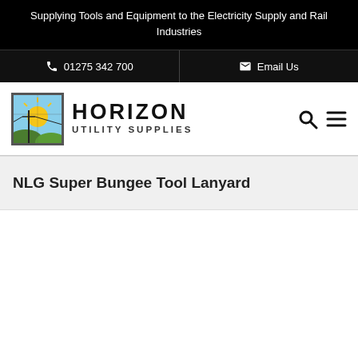Supplying Tools and Equipment to the Electricity Supply and Rail Industries
01275 342 700   Email Us
[Figure (logo): Horizon Utility Supplies logo with a sun rising over hills/power lines illustration and bold text HORIZON UTILITY SUPPLIES]
NLG Super Bungee Tool Lanyard